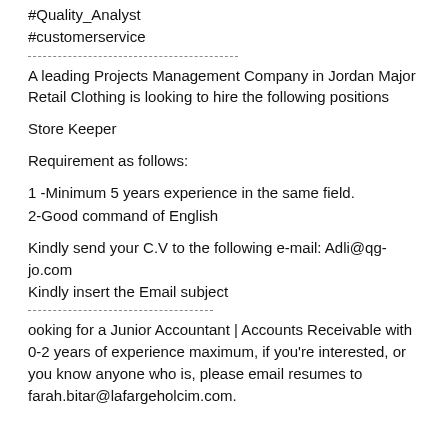#Quality_Analyst
#customerservice
A leading Projects Management Company in Jordan Major Retail Clothing is looking to hire the following positions
Store Keeper
Requirement as follows:
1 -Minimum 5 years experience in the same field.
2-Good command of English
Kindly send your C.V to the following e-mail: Adli@qg-jo.com
Kindly insert the Email subject
ooking for a Junior Accountant | Accounts Receivable with 0-2 years of experience maximum, if you're interested, or you know anyone who is, please email resumes to farah.bitar@lafargeholcim.com.